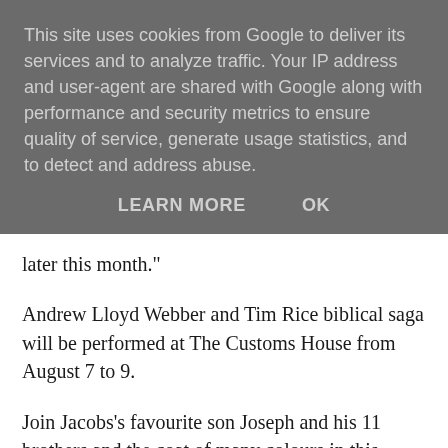This site uses cookies from Google to deliver its services and to analyze traffic. Your IP address and user-agent are shared with Google along with performance and security metrics to ensure quality of service, generate usage statistics, and to detect and address abuse.
LEARN MORE   OK
later this month."
Andrew Lloyd Webber and Tim Rice biblical saga will be performed at The Customs House from August 7 to 9.
Join Jacobs's favourite son Joseph and his 11 brothers and the coat of many colours in this unforgettable musical with a memorable score including Any Dream Will Do, Close Every Door and Go, Go, Go Joseph.
Application forms are available now to pick up from The Customs House box office, in the current What's On